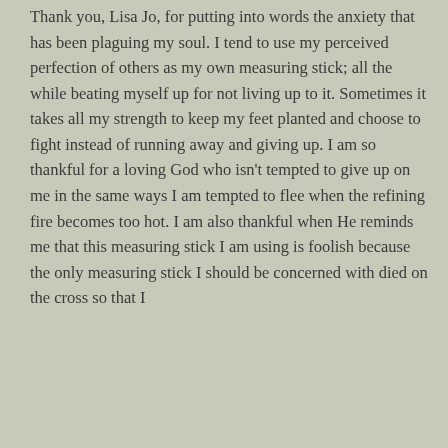Thank you, Lisa Jo, for putting into words the anxiety that has been plaguing my soul. I tend to use my perceived perfection of others as my own measuring stick; all the while beating myself up for not living up to it. Sometimes it takes all my strength to keep my feet planted and choose to fight instead of running away and giving up. I am so thankful for a loving God who isn't tempted to give up on me in the same ways I am tempted to flee when the refining fire becomes too hot. I am also thankful when He reminds me that this measuring stick I am using is foolish because the only measuring stick I should be concerned with died on the cross so that I